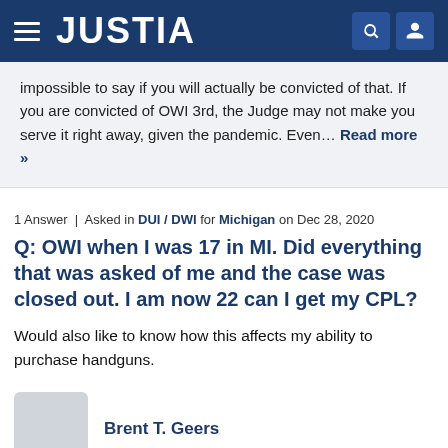JUSTIA
impossible to say if you will actually be convicted of that. If you are convicted of OWI 3rd, the Judge may not make you serve it right away, given the pandemic. Even… Read more »
1 Answer | Asked in DUI / DWI for Michigan on Dec 28, 2020
Q: OWI when I was 17 in MI. Did everything that was asked of me and the case was closed out. I am now 22 can I get my CPL?
Would also like to know how this affects my ability to purchase handguns.
Brent T. Geers